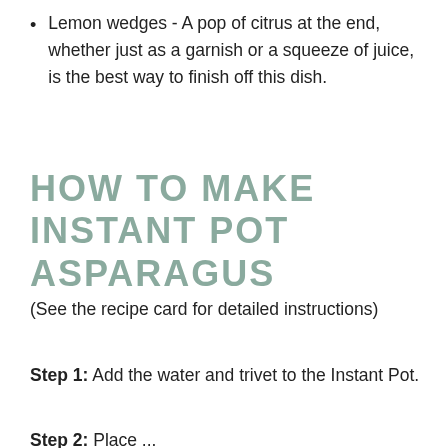Lemon wedges - A pop of citrus at the end, whether just as a garnish or a squeeze of juice, is the best way to finish off this dish.
HOW TO MAKE INSTANT POT ASPARAGUS
(See the recipe card for detailed instructions)
Step 1: Add the water and trivet to the Instant Pot.
Step 2: Place...